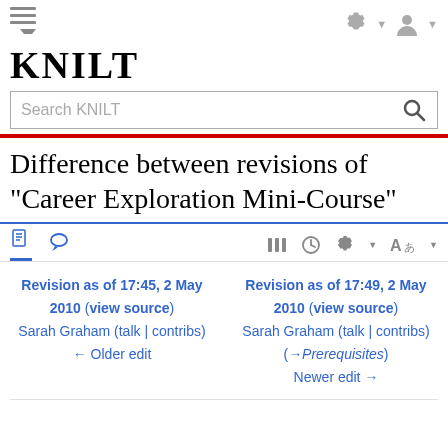KNILT
[Figure (screenshot): Search KNILT search bar with magnifying glass icon]
Difference between revisions of "Career Exploration Mini-Course"
[Figure (screenshot): Page/talk tabs with revision history icons]
Revision as of 17:45, 2 May 2010 (view source)
Sarah Graham (talk | contribs)
← Older edit
Revision as of 17:49, 2 May 2010 (view source)
Sarah Graham (talk | contribs)
(→Prerequisites)
Newer edit →